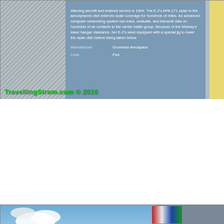[Figure (photo): Close-up photo of an informational placard about an E-2 Hawkeye airborne early warning aircraft on the USS Midway. The placard text describes the APA-171 radar. Shows manufacturer as Grumman Aerospace and crew of Five. Watermark reads TravellingStrom.com © 2010.]
[Figure (photo): Photo of a Grumman E-2 Hawkeye airborne early warning aircraft parked on the flight deck of the USS Midway museum ship in San Diego. The aircraft features a large rotodome radar dish on top, twin turboprop engines with large propellers, and folded wings. A warning sign reads BEWARE OF JET BLAST PROPS AND ROTORS. Watermark reads TravellingStrom.com © 2010.]